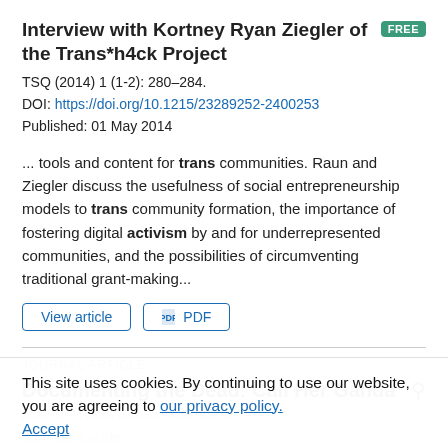Interview with Kortney Ryan Ziegler of the Trans*h4ck Project
TSQ (2014) 1 (1-2): 280–284.
DOI: https://doi.org/10.1215/23289252-2400253
Published: 01 May 2014
... tools and content for trans communities. Raun and Ziegler discuss the usefulness of social entrepreneurship models to trans community formation, the importance of fostering digital activism by and for underrepresented communities, and the possibilities of circumventing traditional grant-making...
JOURNAL ARTICLE
Documenting the Dead: Call Her Ganda
and the Trans Activist Afterlife of
Jennifer Laude.
Kurron Naoli
TSQ (2021) 8 (1): 24–57
This site uses cookies. By continuing to use our website, you are agreeing to our privacy policy.
Accept